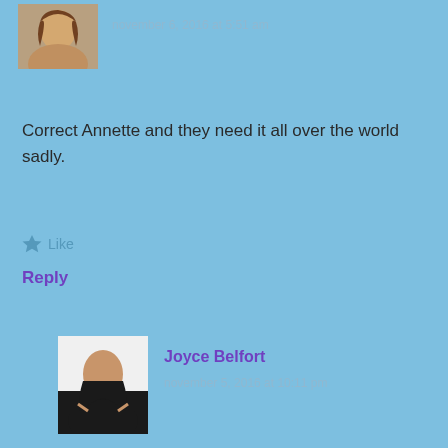[Figure (photo): Small avatar photo of a person with blonde hair at top left]
november 6, 2016 at 5:51 am
Correct Annette and they need it all over the world sadly.
★ Like
Reply
[Figure (photo): Avatar photo of Joyce Belfort, a woman in a black top with arms crossed]
Joyce Belfort
november 5, 2016 at 10:11 pm
What a heart warming story, Denis! It is nice to hear that people are passionate enough about their community that they make a stand for it.
★ Like